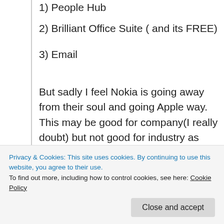1) People Hub
2) Brilliant Office Suite ( and its FREE)
3) Email
But sadly I feel Nokia is going away from their soul and going Apple way.
This may be good for company(I really doubt) but not good for industry as whole.
↳ Reply
Privacy & Cookies: This site uses cookies. By continuing to use this website, you agree to their use.
To find out more, including how to control cookies, see here: Cookie Policy